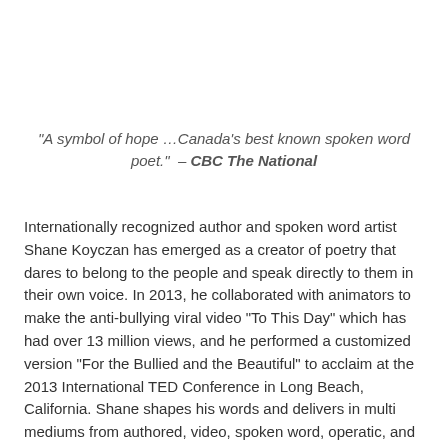“A symbol of hope …Canada’s best known spoken word poet.” – CBC The National
Internationally recognized author and spoken word artist Shane Koyczan has emerged as a creator of poetry that dares to belong to the people and speak directly to them in their own voice. In 2013, he collaborated with animators to make the anti-bullying viral video “To This Day” which has had over 13 million views, and he performed a customized version “For the Bullied and the Beautiful” to acclaim at the 2013 International TED Conference in Long Beach, California. Shane shapes his words and delivers in multi mediums from authored, video, spoken word, operatic, and musically performed.